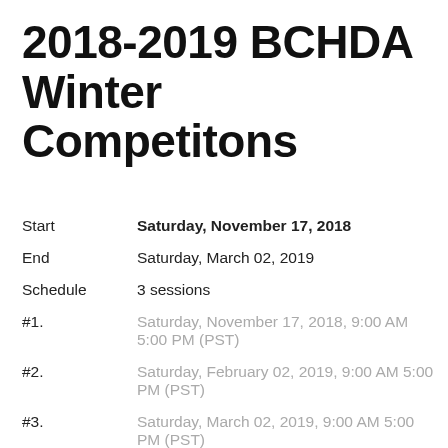2018-2019 BCHDA Winter Competitons
| Field | Value |
| --- | --- |
| Start | Saturday, November 17, 2018 |
| End | Saturday, March 02, 2019 |
| Schedule | 3 sessions |
| #1. | Saturday, November 17, 2018, 9:00 AM 5:00 PM (PST) |
| #2. | Saturday, February 02, 2019, 9:00 AM 5:00 PM (PST) |
| #3. | Saturday, March 02, 2019, 9:00 AM 5:00 PM (PST) |
| Location | Kwantlen Park Secondary, Surrey BC |